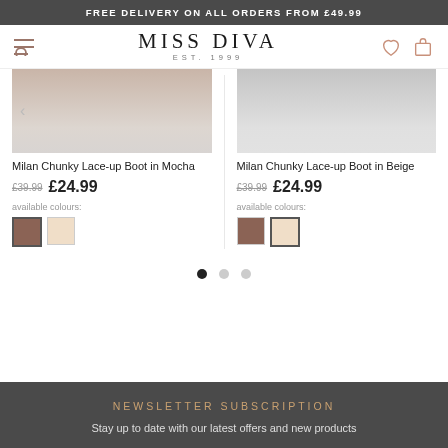FREE DELIVERY ON ALL ORDERS FROM £49.99
[Figure (logo): Miss Diva Est. 1999 logo with navigation icons (hamburger menu, search, heart, shopping bag)]
[Figure (photo): Milan Chunky Lace-up Boot in Mocha product image]
Milan Chunky Lace-up Boot in Mocha
£39.99 £24.99
available colours:
[Figure (photo): Milan Chunky Lace-up Boot in Beige product image]
Milan Chunky Lace-up Boot in Beige
£39.99 £24.99
available colours:
NEWSLETTER SUBSCRIPTION
Stay up to date with our latest offers and new products